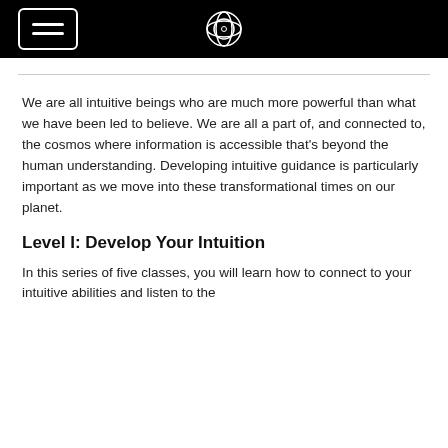[navigation header with hamburger menu and logo]
We are all intuitive beings who are much more powerful than what we have been led to believe. We are all a part of, and connected to, the cosmos where information is accessible that’s beyond the human understanding. Developing intuitive guidance is particularly important as we move into these transformational times on our planet.
Level I: Develop Your Intuition
In this series of five classes, you will learn how to connect to your intuitive abilities and listen to the